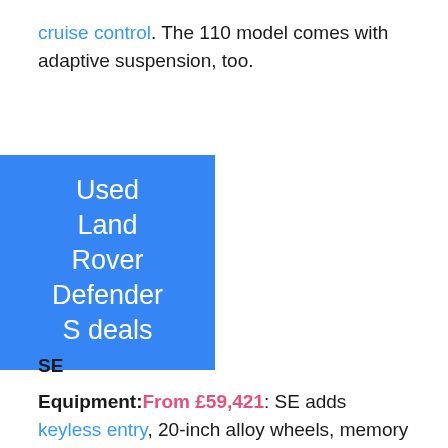cruise control. The 110 model comes with adaptive suspension, too.
[Figure (other): Blue box with white text reading 'Used Land Rover Defender S deals']
SE
Equipment: From £59,421: SE adds keyless entry, 20-inch alloy wheels, memory seats, automatic high beam headlights, blind-spot